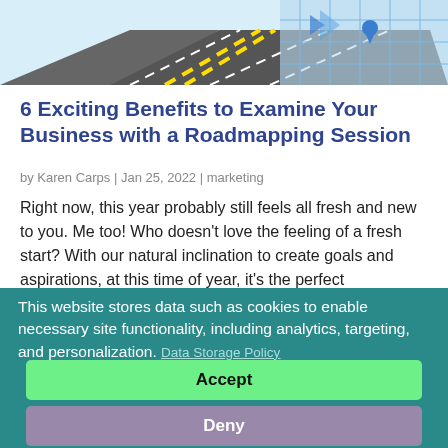[Figure (illustration): Hero image showing a road/highway with yellow center lines and a blue digital map/navigation graphic overlay]
6 Exciting Benefits to Examine Your Business with a Roadmapping Session
by Karen Carps | Jan 25, 2022 | marketing
Right now, this year probably still feels all fresh and new to you. Me too! Who doesn't love the feeling of a fresh start? With our natural inclination to create goals and aspirations, at this time of year, it's the perfect
This website stores data such as cookies to enable necessary site functionality, including analytics, targeting, and personalization. Data Storage Policy
Accept
Deny